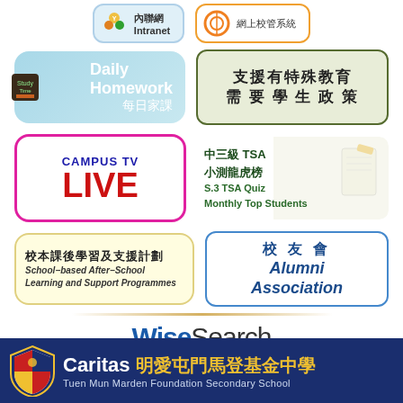[Figure (screenshot): School intranet navigation page with multiple button links: Intranet, 網上校管系統, Daily Homework 每日家課, 支援有特殊教育需要學生政策, Campus TV LIVE, 中三級TSA小測龍虎榜 S.3 TSA Quiz Monthly Top Students, 校本課後學習及支援計劃 School-based After-School Learning and Support Programmes, 校友會 Alumni Association, WiseSearch]
Caritas 明愛屯門馬登基金中學 Tuen Mun Marden Foundation Secondary School